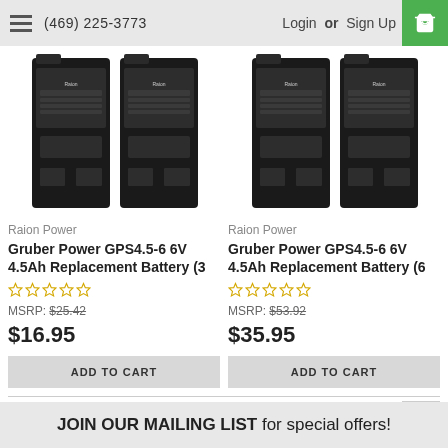(469) 225-3773  Login or Sign Up
[Figure (photo): Two black Raion Power replacement batteries side by side (3-pack product image)]
Raion Power
Gruber Power GPS4.5-6 6V 4.5Ah Replacement Battery (3
MSRP: $25.42
$16.95
ADD TO CART
[Figure (photo): Two black Raion Power replacement batteries side by side (6-pack product image)]
Raion Power
Gruber Power GPS4.5-6 6V 4.5Ah Replacement Battery (6
MSRP: $53.92
$35.95
ADD TO CART
JOIN OUR MAILING LIST for special offers!